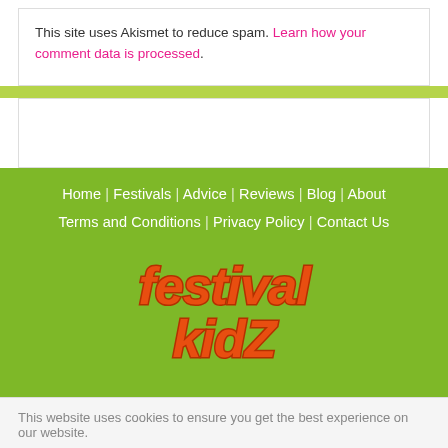This site uses Akismet to reduce spam. Learn how your comment data is processed.
[Figure (logo): Festival Kidz logo with orange bubbly text on green background]
Home | Festivals | Advice | Reviews | Blog | About
Terms and Conditions | Privacy Policy | Contact Us
This website uses cookies to ensure you get the best experience on our website.